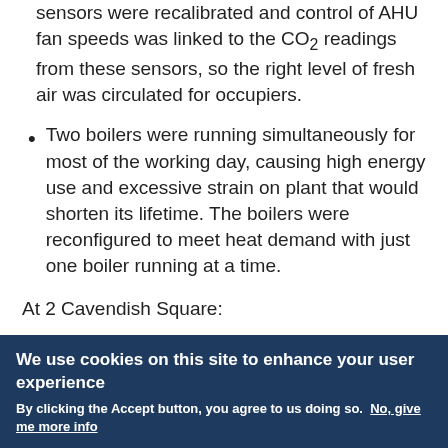sensors were recalibrated and control of AHU fan speeds was linked to the CO₂ readings from these sensors, so the right level of fresh air was circulated for occupiers.
Two boilers were running simultaneously for most of the working day, causing high energy use and excessive strain on plant that would shorten its lifetime. The boilers were reconfigured to meet heat demand with just one boiler running at a time.
At 2 Cavendish Square:
The diagnostic had identified that AHUs were
We use cookies on this site to enhance your user experience
By clicking the Accept button, you agree to us doing so.  No, give me more info